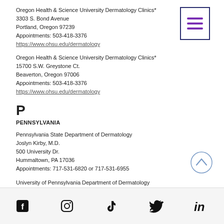Oregon Health & Science University Dermatology Clinics*
3303 S. Bond Avenue
Portland, Oregon 97239
Appointments: 503-418-3376
https://www.ohsu.edu/dermatology
[Figure (other): Menu icon — three purple horizontal lines inside a dark blue border box]
Oregon Health & Science University Dermatology Clinics*
15700 S.W. Greystone Ct.
Beaverton, Oregon 97006
Appointments: 503-418-3376
https://www.ohsu.edu/dermatology
P
PENNSYLVANIA
Pennsylvania State Department of Dermatology
Joslyn Kirby, M.D.
500 University Dr.
Hummaltown, PA 17036
Appointments: 717-531-6820 or 717-531-6955
University of Pennsylvania Department of Dermatology
Robert Micheletti, M.D.
Philadelphia, PA
Appointments: 215-662-2737
[Figure (other): Back-to-top button: circle with upward chevron]
Thomas Jefferson University
Social media icons: Facebook, Instagram, TikTok, Twitter, LinkedIn